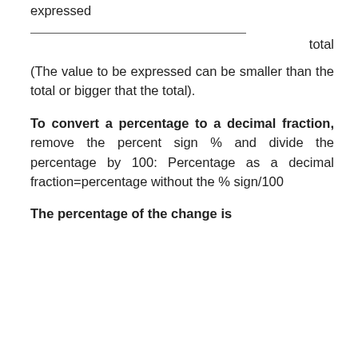expressed
total
(The value to be expressed can be smaller than the total or bigger that the total).
To convert a percentage to a decimal fraction, remove the percent sign % and divide the percentage by 100: Percentage as a decimal fraction=percentage without the % sign/100
The percentage of the change is